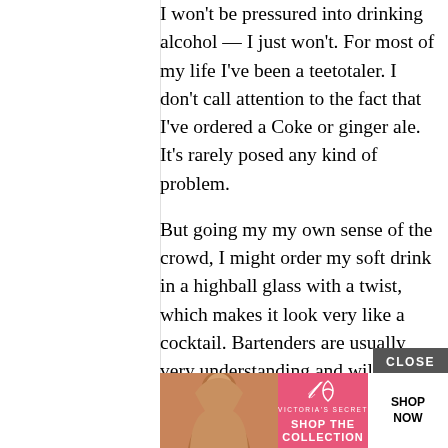I won't be pressured into drinking alcohol — I just won't. For most of my life I've been a teetotaler. I don't call attention to the fact that I've ordered a Coke or ginger ale. It's rarely posed any kind of problem.
But going my my own sense of the crowd, I might order my soft drink in a highball glass with a twist, which makes it look very like a cocktail. Bartenders are usually very understanding and willing to help you out. One awesome bartender at a conference in Miami made me the most delicious alcohol-free mojitos for me, back when mojitos were still very much a Miami-only thing. They were so tasty I broke with my usual pattern (nursing one or maybe two all night) and drank 5 or 6. I'm sure some people were and not
[Figure (screenshot): Victoria's Secret advertisement banner at the bottom of the page. Shows a woman's photo on the left, VS logo and 'SHOP THE COLLECTION' text in center on pink background, and a white 'SHOP NOW' button on the right. A dark grey 'CLOSE' button appears above the ad.]